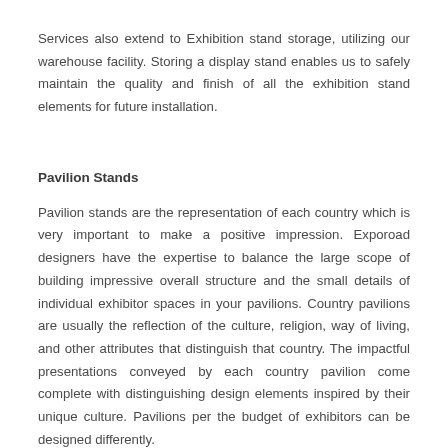Services also extend to Exhibition stand storage, utilizing our warehouse facility. Storing a display stand enables us to safely maintain the quality and finish of all the exhibition stand elements for future installation.
Pavilion Stands
Pavilion stands are the representation of each country which is very important to make a positive impression. Exporoad designers have the expertise to balance the large scope of building impressive overall structure and the small details of individual exhibitor spaces in your pavilions. Country pavilions are usually the reflection of the culture, religion, way of living, and other attributes that distinguish that country. The impactful presentations conveyed by each country pavilion come complete with distinguishing design elements inspired by their unique culture. Pavilions per the budget of exhibitors can be designed differently.